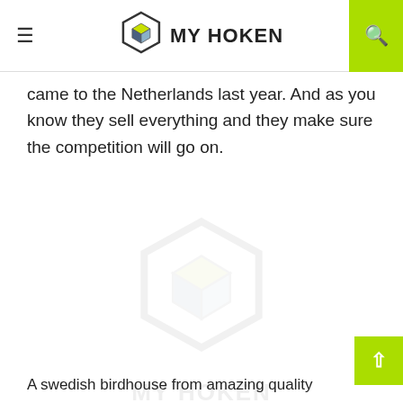MY HOKEN
came to the Netherlands last year. And as you know they sell everything and they make sure the competition will go on.
[Figure (logo): My Hoken watermark logo — faint hexagon cube icon with text MY HOKEN below it]
A swedish birdhouse from amazing quality